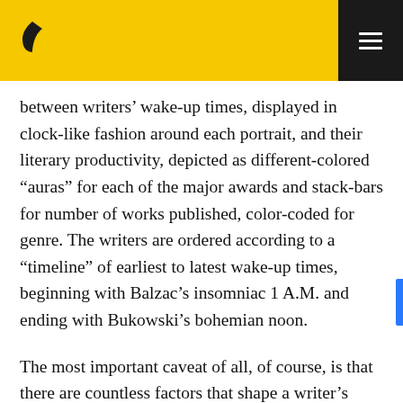between writers' wake-up times, displayed in clock-like fashion around each portrait, and their literary productivity, depicted as different-colored “auras” for each of the major awards and stack-bars for number of works published, color-coded for genre. The writers are ordered according to a “timeline” of earliest to latest wake-up times, beginning with Balzac’s insomniac 1 A.M. and ending with Bukowski’s bohemian noon.
The most important caveat of all, of course, is that there are countless factors that shape a writer’s creative output, of which sleep is only one — so this isn’t meant to indicate any direction of causation, only to highlight some interesting correlations: for instance, the fact that (with